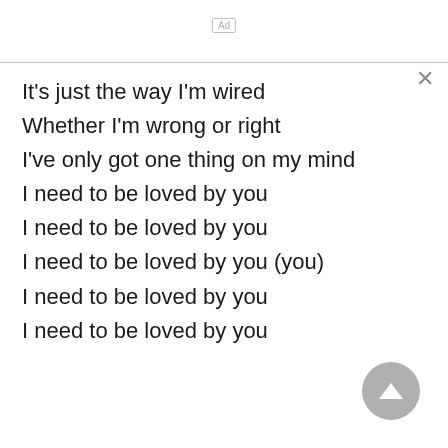Ad
It's just the way I'm wired
Whether I'm wrong or right
I've only got one thing on my mind
I need to be loved by you
I need to be loved by you
I need to be loved by you (you)
I need to be loved by you
I need to be loved by you